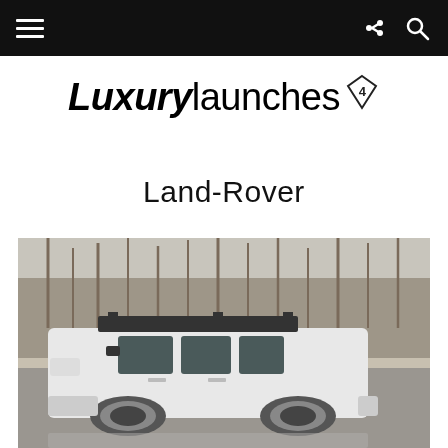Navigation bar with hamburger menu, share icon, and search icon
[Figure (logo): LuxuryLaunches logo with bold italic 'Luxury' and regular 'launches' text with a diamond/gem icon superscript containing the number 4]
Land-Rover
[Figure (photo): White Land Rover Defender SUV with roof rack, parked in front of bare winter trees, photographed from the side/front quarter view]